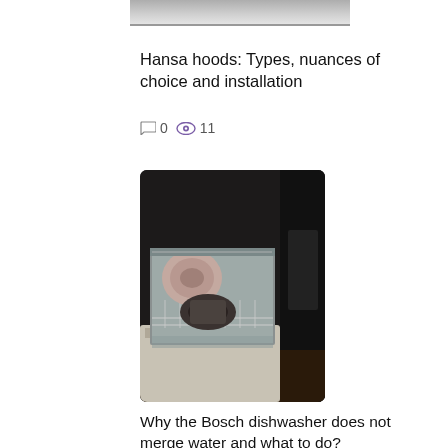[Figure (photo): Partial top of an image, appears to be a metal appliance or hood, cropped at the top of the page]
Hansa hoods: Types, nuances of choice and installation
0   11
[Figure (photo): Open Bosch dishwasher with items including round brushes or filters loaded in the lower rack, stainless steel interior visible]
Why the Bosch dishwasher does not merge water and what to do?